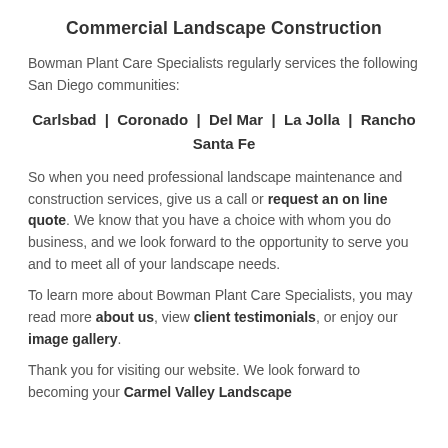Commercial Landscape Construction
Bowman Plant Care Specialists regularly services the following San Diego communities:
Carlsbad  |  Coronado  |  Del Mar  |  La Jolla  |  Rancho Santa Fe
So when you need professional landscape maintenance and construction services, give us a call or request an on line quote. We know that you have a choice with whom you do business, and we look forward to the opportunity to serve you and to meet all of your landscape needs.
To learn more about Bowman Plant Care Specialists, you may read more about us, view client testimonials, or enjoy our image gallery.
Thank you for visiting our website. We look forward to becoming your Carmel Valley Landscape